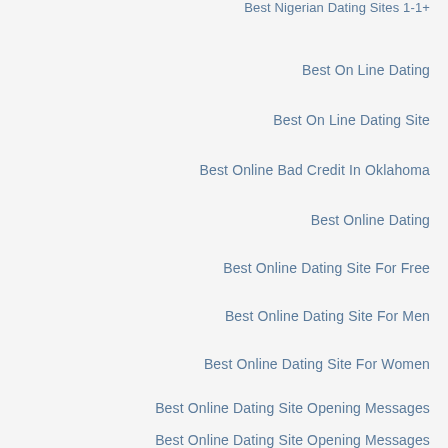Best Nigerian Dating Sites 1-1+
Best On Line Dating
Best On Line Dating Site
Best Online Bad Credit In Oklahoma
Best Online Dating
Best Online Dating Site For Free
Best Online Dating Site For Men
Best Online Dating Site For Women
Best Online Dating Site Opening Messages
Best Online Dating Site Opening Messages